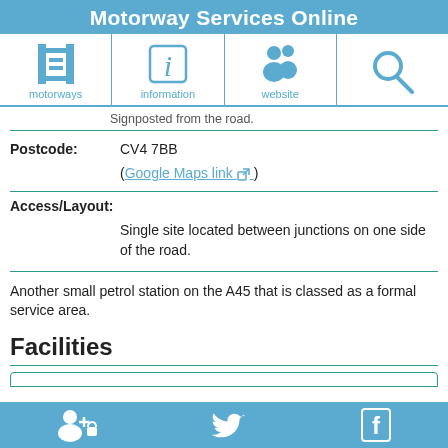Motorway Services Online
[Figure (screenshot): Navigation bar with icons for motorways, information, website, and search]
Signposted from the road.
Postcode: CV4 7BB
(Google Maps link)
Access/Layout:
Single site located between junctions on one side of the road.
Another small petrol station on the A45 that is classed as a formal service area.
Facilities
Footer with social/login icons